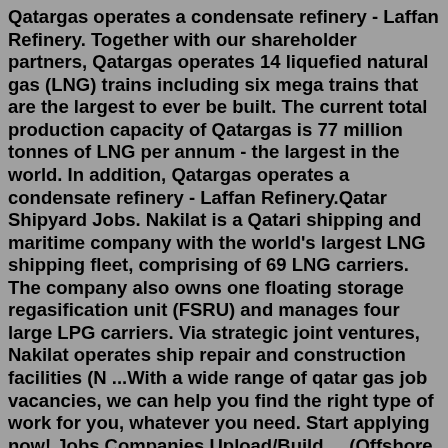Qatargas operates a condensate refinery - Laffan Refinery. Together with our shareholder partners, Qatargas operates 14 liquefied natural gas (LNG) trains including six mega trains that are the largest to ever be built. The current total production capacity of Qatargas is 77 million tonnes of LNG per annum - the largest in the world. In addition, Qatargas operates a condensate refinery - Laffan Refinery.Qatar Shipyard Jobs. Nakilat is a Qatari shipping and maritime company with the world's largest LNG shipping fleet, comprising of 69 LNG carriers. The company also owns one floating storage regasification unit (FSRU) and manages four large LPG carriers. Via strategic joint ventures, Nakilat operates ship repair and construction facilities (N ...With a wide range of qatar gas job vacancies, we can help you find the right type of work for you, whatever you need. Start applying now! Jobs Companies Upload/Build ... (Offshore Support & Production) Qatar Energy Doha Full-Time. favorite_border; 29 days ago. MEDICAL OFFICER (Family Medicine Specialist) Qatar Energy